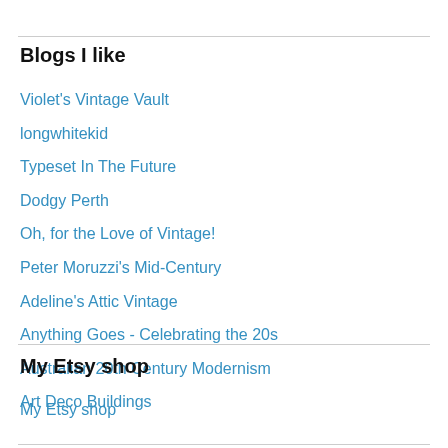Blogs I like
Violet's Vintage Vault
longwhitekid
Typeset In The Future
Dodgy Perth
Oh, for the Love of Vintage!
Peter Moruzzi's Mid-Century
Adeline's Attic Vintage
Anything Goes - Celebrating the 20s
Australian 20th Century Modernism
Art Deco Buildings
My Etsy shop
My Etsy shop